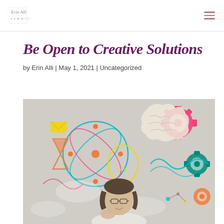Erin Alli [logo] | hamburger menu
Be Open to Creative Solutions
by Erin Alli | May 1, 2021 | Uncategorized
[Figure (photo): A woman with glasses looking thoughtful in front of a wall covered with colorful doodle drawings of creative and scientific concepts including gears, a brain, an atom, a lightbulb, molecules, and hourglass shapes. The illustration includes bright colors: pink, teal, yellow, orange, and blue.]